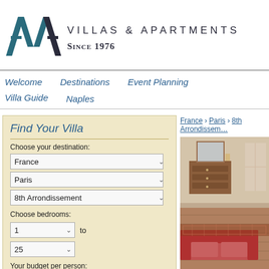[Figure (logo): AVA Villas & Apartments Since 1976 logo with teal/dark blue AVA lettermark]
VILLAS & APARTMENTS | SINCE 1976
Welcome | Destinations | Event Planning | Villa Guide | Naples
France › Paris › 8th Arrondissement
Find Your Villa
Choose your destination:
France
Paris
8th Arrondissement
Choose bedrooms:
1 to 25
Your budget per person:
$ per person per night
[Figure (photo): Interior of a Paris apartment showing a wooden dresser with mirror, pink/red sofa, and patterned rug on wooden floor]